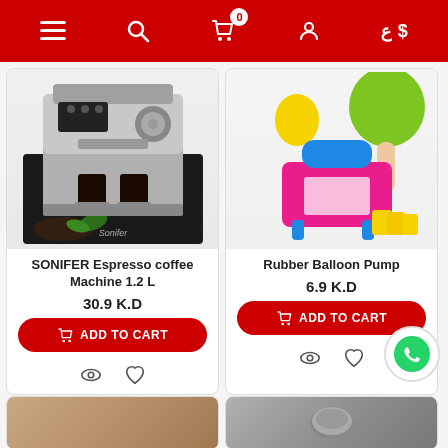Navigation header with menu, search, cart (0), profile, currency (ع $) icons
[Figure (photo): SONIFER espresso coffee machine with two cups of coffee and coffee beans]
SONIFER Espresso coffee Machine 1.2 L
30.9 K.D
ADD TO CART
[Figure (photo): Pink electric rubber balloon pump with balloons and accessories]
Rubber Balloon Pump
6.9 K.D
ADD TO CART
[Figure (photo): Partial product image bottom left - brownish item]
[Figure (photo): Partial product image bottom right - metallic item]